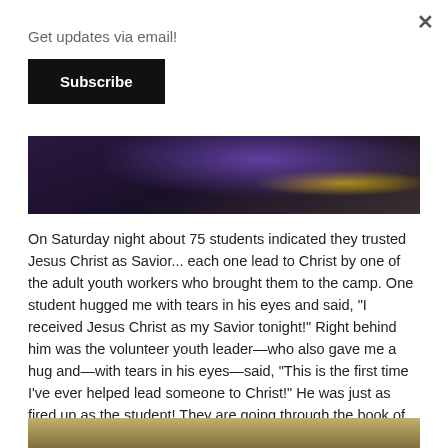×
Get updates via email!
Subscribe
[Figure (photo): Dark photo showing feet/stage area with purple and yellow lighting, bottom portion of an event stage scene]
On Saturday night about 75 students indicated they trusted Jesus Christ as Savior... each one lead to Christ by one of the adult youth workers who brought them to the camp. One student hugged me with tears in his eyes and said, "I received Jesus Christ as my Savior tonight!" Right behind him was the volunteer youth leader—who also gave me a hug and—with tears in his eyes—said, "This is the first time I've ever helped lead someone to Christ!" He was just as fired up as the student! They are going through the book of John together one chapter a day for the next 21 days.
[Figure (photo): Bottom edge of a photo showing a golden/tan colored background, partially visible]